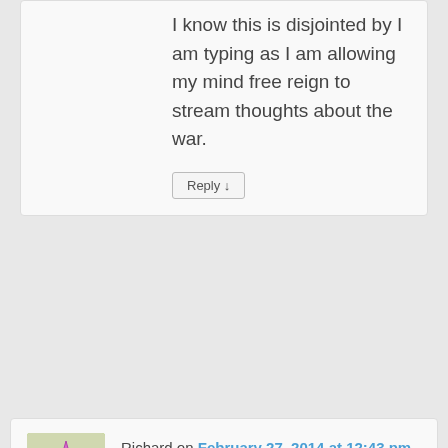I know this is disjointed by I am typing as I am allowing my mind free reign to stream thoughts about the war.
Reply ↓
Richard on February 27, 2014 at 12:43 pm said:
Yucki check out the knock out champion game, polar bear hunting, in many ways this and the other massive black flash mob attacks are the opening phases of a race war that will be part of the civil war. While the blow back on this hasn't started yet and